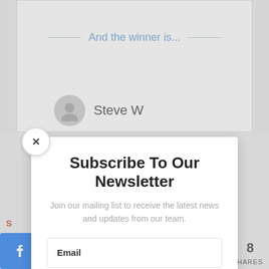And the winner is...
Steve W
Subscribe To Our Newsletter
Join our mailing list to receive the latest news and updates from our team.
Email
SUBSCRIBE!
Pr
we
To
Po
S
t
8
HARES